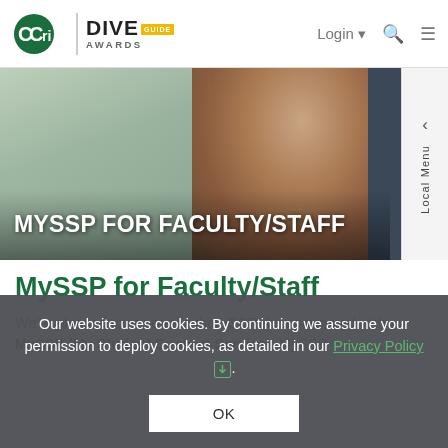CCRI | DIVE AWARDS — Login | Search | Menu
[Figure (photo): Hero banner image showing a smiling student in a blurred campus background with white text overlay reading MYSSP FOR FACULTY/STAFF and a Local Menu tab on the right]
MySSP for Faculty/Staff
We're pleased to announce that, CCRI has partnered with MySSP (My Student Support Service). MySSP
Our website uses cookies. By continuing we assume your permission to deploy cookies, as detailed in our Privacy Policy .
OK